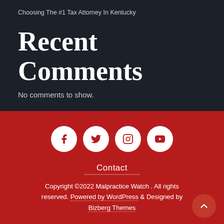Choosing The #1 Tax Attorney In Kentucky
Recent Comments
No comments to show.
[Figure (infographic): Social media icons: Facebook, Twitter, Instagram, YouTube — white circles with red icons on red background]
Contact
Copyright ©2022 Malpractice Watch . All rights reserved. Powered by WordPress & Designed by Bizberg Themes